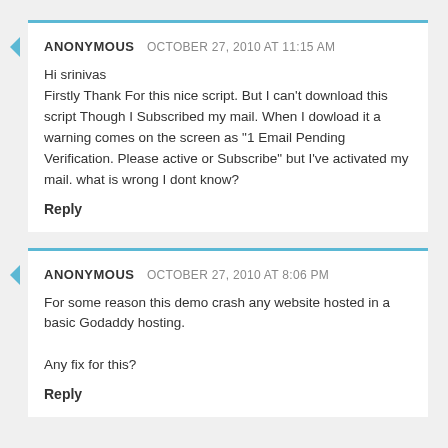ANONYMOUS OCTOBER 27, 2010 AT 11:15 AM
Hi srinivas
Firstly Thank For this nice script. But I can't download this script Though I Subscribed my mail. When I dowload it a warning comes on the screen as "1 Email Pending Verification. Please active or Subscribe" but I've activated my mail. what is wrong I dont know?
Reply
ANONYMOUS OCTOBER 27, 2010 AT 8:06 PM
For some reason this demo crash any website hosted in a basic Godaddy hosting.

Any fix for this?
Reply